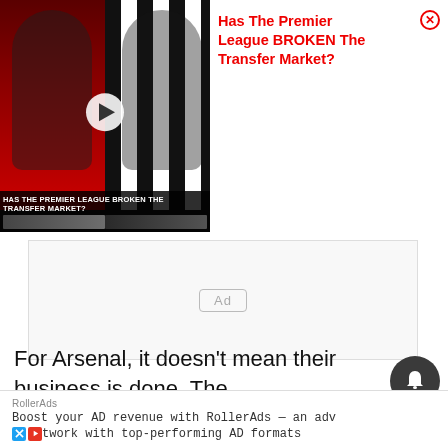[Figure (screenshot): Video thumbnail showing two soccer players — one in a red Manchester United jersey on the left, one in a black-and-white Newcastle jersey on the right — with a play button overlay and caption 'Has The Premier League Broken The Transfer Market?']
Has The Premier League BROKEN The Transfer Market?
[Figure (other): Ad placeholder box with 'Ad' label centered]
For Arsenal, it doesn't mean their business is done. The
expected to sign another stri
RollerAds
Boost your AD revenue with RollerAds — an adv
ntwork with top-performing AD formats